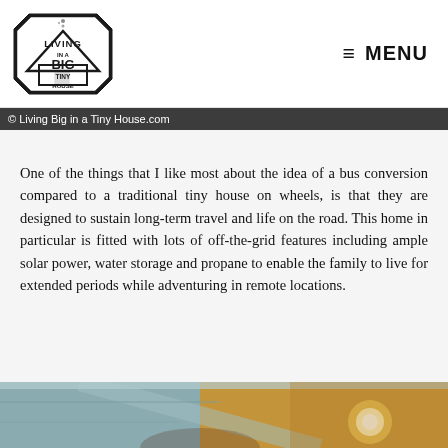Living Big in a Tiny House — MENU
© Living Big in a Tiny House.com
One of the things that I like most about the idea of a bus conversion compared to a traditional tiny house on wheels, is that they are designed to sustain long-term travel and life on the road. This home in particular is fitted with lots of off-the-grid features including ample solar power, water storage and propane to enable the family to live for extended periods while adventuring in remote locations.
[Figure (photo): Bottom portion of an interior photo of a converted bus home, showing ceiling lights and warm wooden tones]